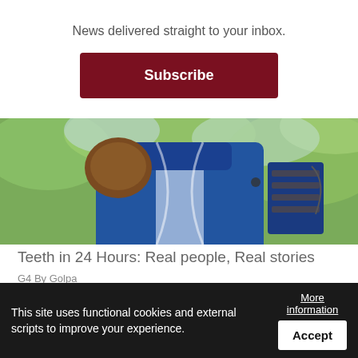News delivered straight to your inbox.
Subscribe
[Figure (photo): Close-up photo of a person in blue jacket/vest outdoors with green foliage background, holding something brown]
Teeth in 24 Hours: Real people, Real stories
G4 By Golpa
Saipan Tribune Comment Policy
We welcome relevant and respectful comments. Saipan Tribune has the right to delete off topics or disrespectful comment
This site uses functional cookies and external scripts to improve your experience.
More information
Accept